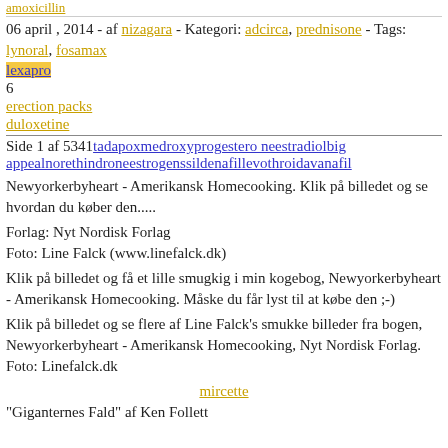amoxicillin
06 april , 2014 - af nizagara - Kategori: adcirca, prednisone - Tags: lynoral, fosamax
lexapro
6
erection packs
duloxetine
Side 1 af 5341 tadapoxmedroxyprogestero neestradiolbig appealnorethindroneestrogenssildenafillevothroidavanafil
Newyorkerbyheart - Amerikansk Homecooking. Klik på billedet og se hvordan du køber den.....
Forlag: Nyt Nordisk Forlag
Foto: Line Falck (www.linefalck.dk)
Klik på billedet og få et lille smugkig i min kogebog, Newyorkerbyheart - Amerikansk Homecooking. Måske du får lyst til at købe den ;-)
Klik på billedet og se flere af Line Falck's smukke billeder fra bogen, Newyorkerbyheart - Amerikansk Homecooking, Nyt Nordisk Forlag.
Foto: Linefalck.dk
mircette
"Giganternes Fald" af Ken Follett